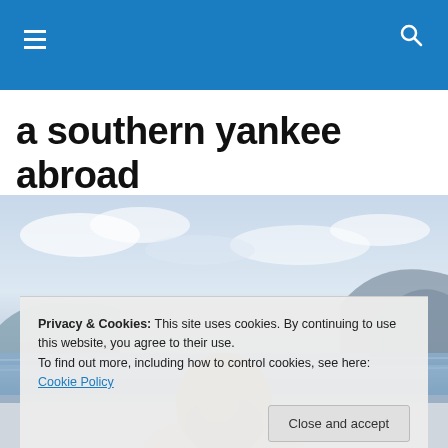Navigation header bar with hamburger menu and search icon
a southern yankee abroad
[Figure (photo): Back of a blonde woman's head looking out at a scenic coastal or ocean landscape with mountains, cloudy sky, and water in the background.]
Privacy & Cookies: This site uses cookies. By continuing to use this website, you agree to their use.
To find out more, including how to control cookies, see here: Cookie Policy
Close and accept